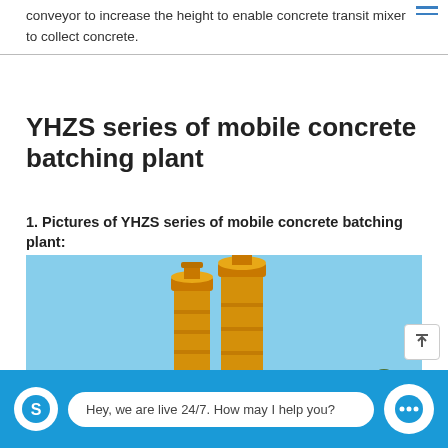conveyor to increase the height to enable concrete transit mixer to collect concrete.
YHZS series of mobile concrete batching plant
1. Pictures of YHZS series of mobile concrete batching plant:
[Figure (photo): Photo of a yellow YHZS series mobile concrete batching plant with two cylindrical silos and conveyor belts against a blue sky]
Hey, we are live 24/7. How may I help you?